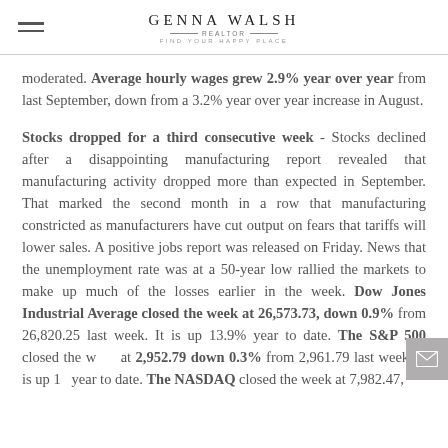GENNA WALSH REALTOR — FIND YOUR HAPPY PLACE
moderated. Average hourly wages grew 2.9% year over year from last September, down from a 3.2% year over year increase in August.
Stocks dropped for a third consecutive week - Stocks declined after a disappointing manufacturing report revealed that manufacturing activity dropped more than expected in September. That marked the second month in a row that manufacturing constricted as manufacturers have cut output on fears that tariffs will lower sales. A positive jobs report was released on Friday. News that the unemployment rate was at a 50-year low rallied the markets to make up much of the losses earlier in the week. Dow Jones Industrial Average closed the week at 26,573.73, down 0.9% from 26,820.25 last week. It is up 13.9% year to date. The S&P 500 closed the w... at 2,952.79 down 0.3% from 2,961.79 last week. It is up 1... year to date. The NASDAQ closed the week at 7,982.47,